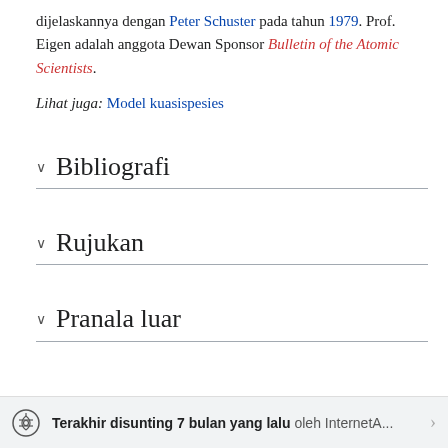dijelaskannya dengan Peter Schuster pada tahun 1979. Prof. Eigen adalah anggota Dewan Sponsor Bulletin of the Atomic Scientists.
Lihat juga: Model kuasispesies
Bibliografi
Rujukan
Pranala luar
Terakhir disunting 7 bulan yang lalu oleh InternetA...